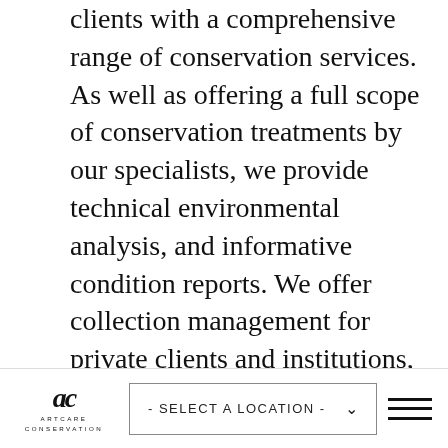clients with a comprehensive range of conservation services. As well as offering a full scope of conservation treatments by our specialists, we provide technical environmental analysis, and informative condition reports. We offer collection management for private clients and institutions, including guidance on preventative measures and treatments.
Services
[Figure (logo): Artcare Conservation logo with stylized 'ac' monogram and text ARTCARE CONSERVATION]
- SELECT A LOCATION -
[Figure (other): Hamburger menu icon with three horizontal lines]